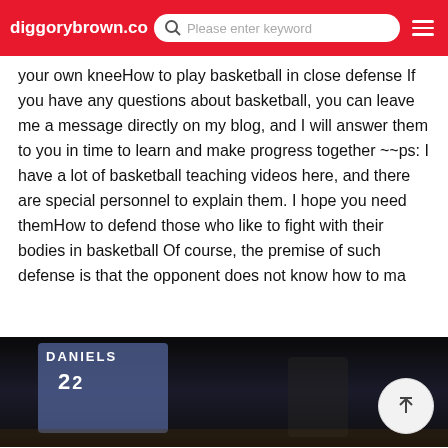diggorybrown.co | Please enter keyword
your own kneeHow to play basketball in close defense If you have any questions about basketball, you can leave me a message directly on my blog, and I will answer them to you in time to learn and make progress together ~~ps: I have a lot of basketball teaching videos here, and there are special personnel to explain them. I hope you need themHow to defend those who like to fight with their bodies in basketball Of course, the premise of such defense is that the opponent does not know how to ma
[Figure (photo): Dark basketball court scene with a player wearing a jersey with 'DANIELS' on the back]